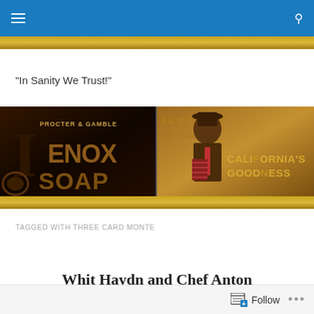Navigation bar with hamburger menu and search icon
"In Sanity We Trust!"
[Figure (illustration): Two-panel vintage advertisement banner. Left panel: dark background with 'PROCTER & GAMBLE' text and 'LENOX SOAP' in large letters. Right panel: sepia/golden background showing a mustachioed man playing accordion with text 'CALIFORNIA'S GOODNESS'.]
TAGGED WITH THREE CARD MONTE
Whit Haydn and Chef Anton
Follow